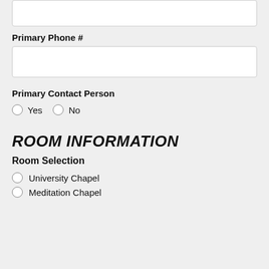(input box at top — continuation from previous section)
Primary Phone #
(text input field)
Primary Contact Person
Yes
No
ROOM INFORMATION
Room Selection
University Chapel
Meditation Chapel